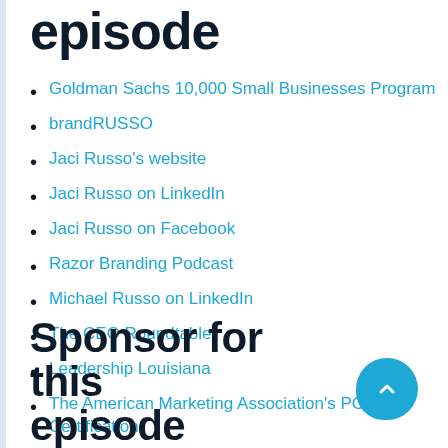episode
Goldman Sachs 10,000 Small Businesses Program
brandRUSSO
Jaci Russo's website
Jaci Russo on LinkedIn
Jaci Russo on Facebook
Razor Branding Podcast
Michael Russo on LinkedIn
The CEO Roundtable
Leadership Louisiana
The American Marketing Association's PCM Certification
Sponsor for this episode